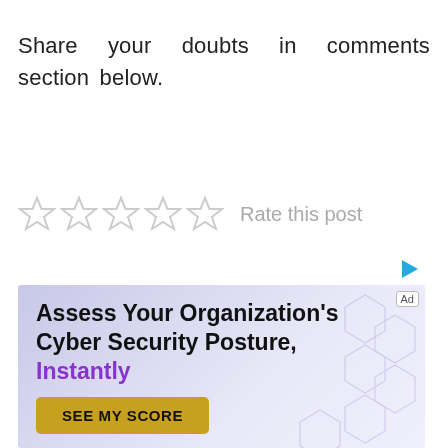Share your doubts in comments section below.
[Figure (other): Five empty star rating widgets with 'Rate this post' label]
[Figure (infographic): Advertisement banner: 'Assess Your Organization's Cyber Security Posture, Instantly' with a 'SEE MY SCORE' button on a purple gradient background with hexagon pattern]